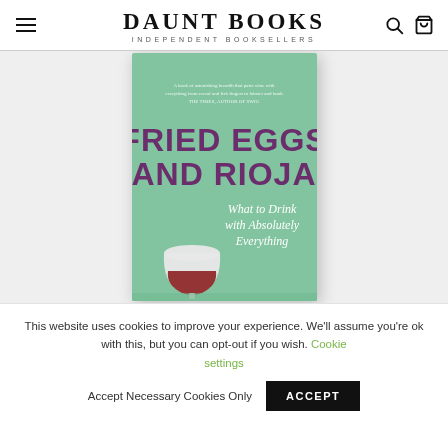DAUNT BOOKS INDEPENDENT BOOKSELLERS
[Figure (photo): Book cover of 'Fried Eggs and Rioja: What to Drink with Absolutely Everything' displayed on a light grey background. The cover is mint/sage green with large bold purple text reading 'FRIED EGGS AND RIOJA' and white italic text 'What to Drink with Absolutely Everything'. A stemless wine glass with red wine is illustrated at the bottom left.]
This website uses cookies to improve your experience. We'll assume you're ok with this, but you can opt-out if you wish. Cookie settings  Accept Necessary Cookies Only  ACCEPT